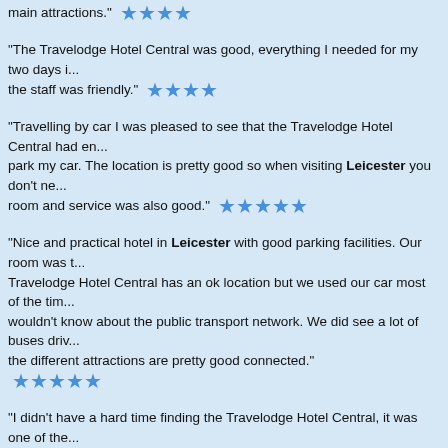main attractions." ★★★★
"The Travelodge Hotel Central was good, everything I needed for my two days i... the staff was friendly." ★★★★
"Travelling by car I was pleased to see that the Travelodge Hotel Central had en... park my car. The location is pretty good so when visiting Leicester you don't ne... room and service was also good." ★★★★
"Nice and practical hotel in Leicester with good parking facilities. Our room was t... Travelodge Hotel Central has an ok location but we used our car most of the tim... wouldn't know about the public transport network. We did see a lot of buses driv... the different attractions are pretty good connected." ★★★★
"I didn't have a hard time finding the Travelodge Hotel Central, it was one of the... out to be a great choice! At night the receptioniste helped us find this great b... ★★★★★
"As soon as I walked in the Travelodge Hotel Central I felt this place was the r... great and our stay at the Travelodge Hotel Central couldn't be better." ★★★
"Travelling by car I was pleased to see that the Travelodge Hotel Central had en... park my car. The location is pretty good so when visiting Leicester you don't ne... room and service was also good." ★★★★
"Leicester has a lot of nice hotels and I think the Travelodge Hotel Central was o... was spacious, clean and had its own kitchenette which was really handy if we... and I recommend the Travelodge Hotel Central to everybody." ★★